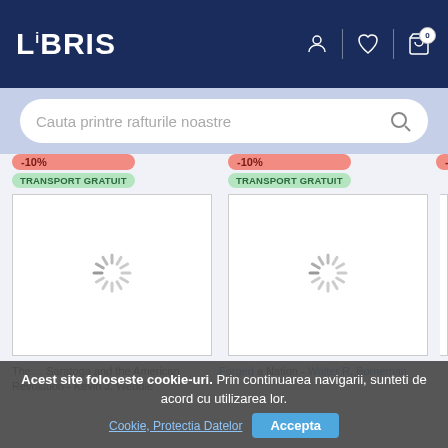LIBRIS
Cauta printre rafturile noastre
[Figure (screenshot): Product listing cards with -10% discount badges and TRANSPORT GRATUIT labels, showing loading spinners]
Acest site foloseste cookie-uri. Prin continuarea navigarii, sunteti de acord cu utilizarea lor.
Cookie, Protectia Datelor
The ... Saratoga and the American Revolution - Kevin J. Weddie
Forged a Nation - Walter R. Borneman